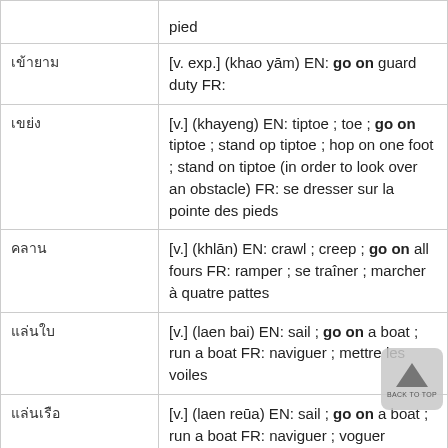| Thai | Definition |
| --- | --- |
|  | pied |
| เข้ายาม | [v. exp.] (khao yām) EN: go on guard duty FR: |
| เขย่ง | [v.] (khayeng) EN: tiptoe ; toe ; go on tiptoe ; stand op tiptoe ; hop on one foot ; stand on tiptoe (in order to look over an obstacle) FR: se dresser sur la pointe des pieds |
| คลาน | [v.] (khlān) EN: crawl ; creep ; go on all fours FR: ramper ; se traîner ; marcher à quatre pattes |
| แล่นใบ | [v.] (laen bai) EN: sail ; go on a boat ; run a boat FR: naviguer ; mettre les voiles |
| แล่นเรือ | [v.] (laen reūa) EN: sail ; go on a boat ; run a boat FR: naviguer ; voguer |
|  | [v.] ... |